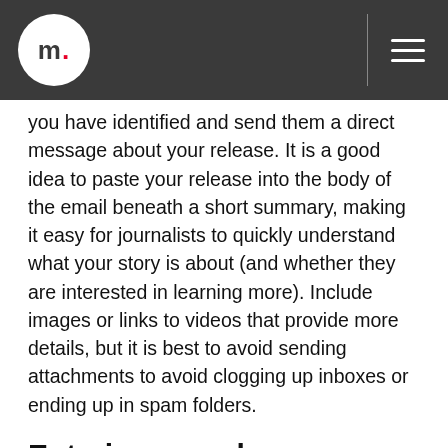m.
you have identified and send them a direct message about your release. It is a good idea to paste your release into the body of the email beneath a short summary, making it easy for journalists to quickly understand what your story is about (and whether they are interested in learning more). Include images or links to videos that provide more details, but it is best to avoid sending attachments to avoid clogging up inboxes or ending up in spam folders.
Entering awards
Winning an award is undoubtedly a fantastic way of raising your business's profile as well